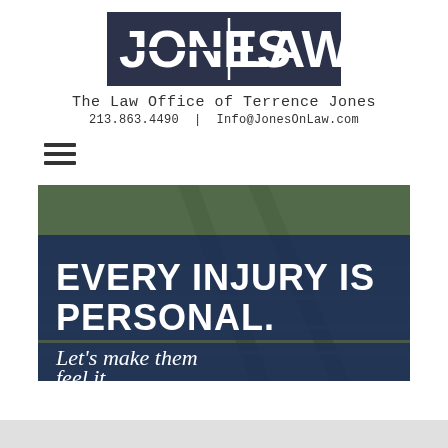[Figure (logo): Jones Law logo — dark navy/charcoal rectangle with bold white text 'JONES LAW']
The Law Office of Terrence Jones
213.863.4490 | Info@JonesOnLaw.com
[Figure (illustration): Hamburger menu icon (three horizontal lines)]
[Figure (photo): Hero banner image: railroad tracks photo with dark blue overlay panels. Large bold white text reads 'EVERY INJURY IS PERSONAL.' and italic white text below reads 'Let's make them feel it.']